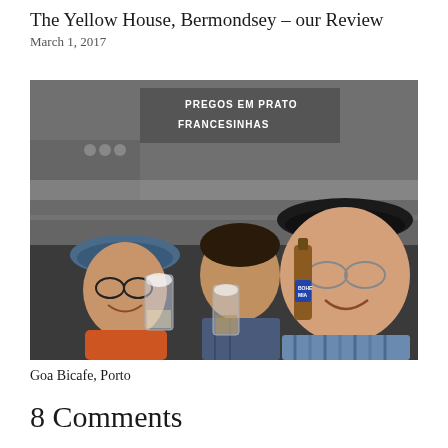The Yellow House, Bermondsey – our Review
March 1, 2017
[Figure (photo): Three men holding beer glasses and bottles in a casual bar/restaurant setting. A sign on the wall reads 'PREGOS EM PRATO FRANCESINHAS'. The men are smiling and toasting the camera. One on the left wears a blue hat and glasses, the middle man holds a glass of beer, and the right man wears a black cap and holds a bottle labeled 'BOHEMIA'.]
Goa Bicafe, Porto
8 Comments